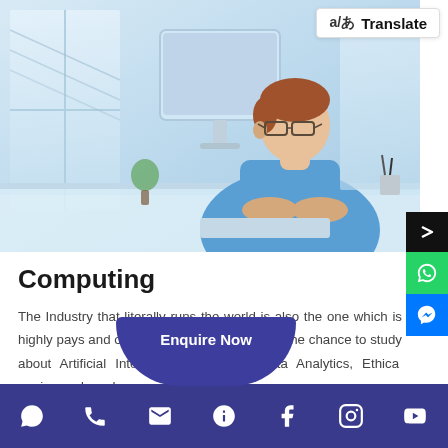[Figure (photo): Young man with glasses in blue shirt sitting at a desk working on a computer in a bright office with large windows]
Computing
The Industry that literally runs the world is also the one which is highly pays and offers enormous growth. Get the chance to study about Artificial Intelligence, Robotics, Data Analytics, Ethical...ming and much
[Figure (other): Enquire Now button overlay]
WhatsApp | Phone | Email | Info | Facebook | Instagram | YouTube